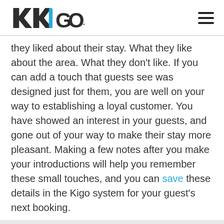[Figure (logo): KIGO logo with blue and dark stylized K and blue vertical bar in the I, plus hamburger menu icon on the right]
they liked about their stay. What they like about the area. What they don't like. If you can add a touch that guests see was designed just for them, you are well on your way to establishing a loyal customer. You have showed an interest in your guests, and gone out of your way to make their stay more pleasant. Making a few notes after you make your introductions will help you remember these small touches, and you can save these details in the Kigo system for your guest's next booking.
We use cookies to understand how you use our site and to improve your experience. This includes personalizing content and advertising. Learn More. By continuing to use our site, you accept our use of cookies, Privacy Policy, and Terms of Use.
GOT IT!